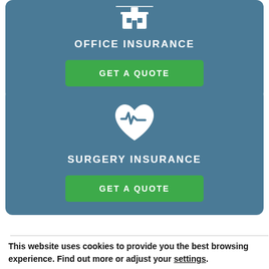[Figure (illustration): Office insurance card with building icon, title OFFICE INSURANCE, and GET A QUOTE button]
[Figure (illustration): Surgery insurance card with heart monitor icon, title SURGERY INSURANCE, and GET A QUOTE button]
This website uses cookies to provide you the best browsing experience. Find out more or adjust your settings.